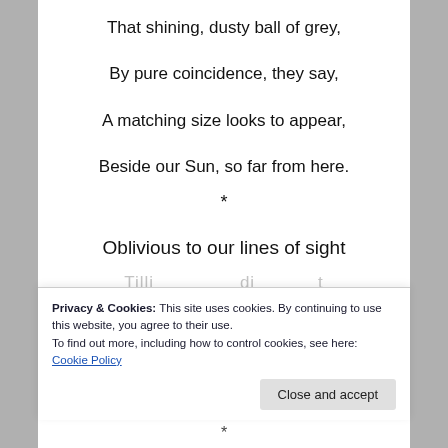That shining, dusty ball of grey,
By pure coincidence, they say,
A matching size looks to appear,
Beside our Sun, so far from here.
*
Oblivious to our lines of sight
[partial line obscured]
Privacy & Cookies: This site uses cookies. By continuing to use this website, you agree to their use.
To find out more, including how to control cookies, see here: Cookie Policy
*